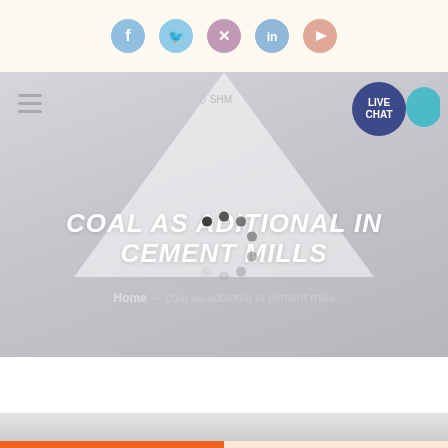[Figure (screenshot): Top social media bar with icons for Facebook, Twitter, X, LinkedIn, and YouTube on a cream background]
[Figure (screenshot): Hero banner with grey mountain illustration, hamburger menu top left, logo center, live chat bubble top right, white bold italic title 'COAL AS ADITIONAL IN CEMENT MILLS', loading spinner overlay, breadcrumb: Home > coal as aditional in cement mills]
COAL AS ADITIONAL IN CEMENT MILLS
Home → coal as aditional in cement mills
[Figure (screenshot): Partial view of content area with white background and partial image strip showing grey industrial equipment]
Get a Quote
WhatsApp